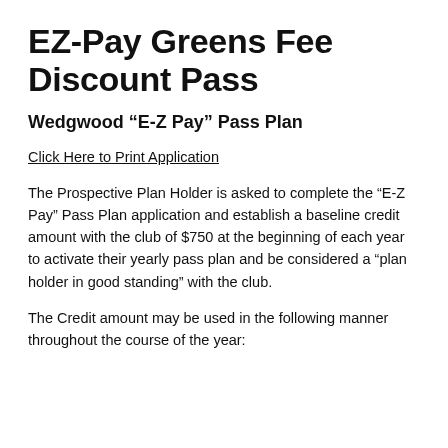EZ-Pay Greens Fee Discount Pass
Wedgwood “E-Z Pay” Pass Plan
Click Here to Print Application
The Prospective Plan Holder is asked to complete the “E-Z Pay” Pass Plan application and establish a baseline credit amount with the club of $750 at the beginning of each year to activate their yearly pass plan and be considered a “plan holder in good standing” with the club.
The Credit amount may be used in the following manner throughout the course of the year: